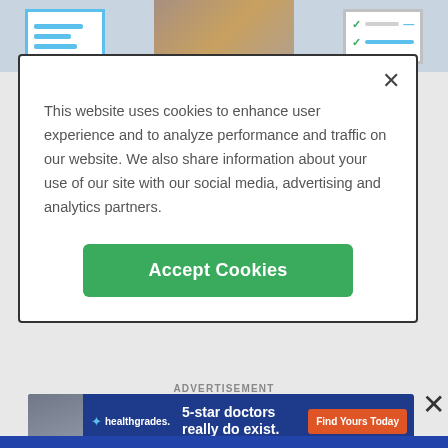[Figure (screenshot): Partial background showing a medical website header with icons and a photo of people]
This website uses cookies to enhance user experience and to analyze performance and traffic on our website. We also share information about your use of our site with our social media, advertising and analytics partners.
Accept Cookies
Frequently Asked Questions
+ Does Dr. Avron Marcus, MD offer telehealth services?
ADVERTISEMENT
[Figure (screenshot): Healthgrades advertisement banner: 5-star doctors really do exist. Find Yours Today]